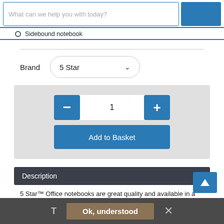What can we help you with today?
Sidebound notebook
Brand  5 Star
[Figure (screenshot): Quantity selector with minus button, value 1, and plus button, and Add to Basket button below]
Description
5 Star™ Office notebooks are great quality and available in a variety of sizes and formats to help meet all your needs. The
T  Ok, understood  ×